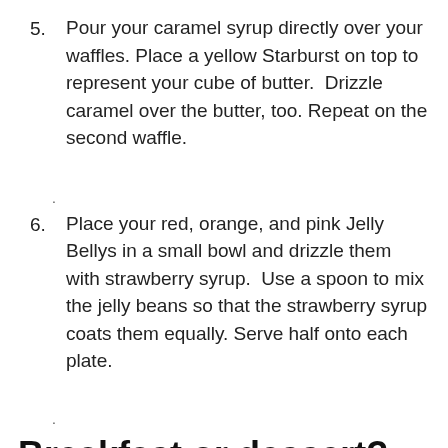5. Pour your caramel syrup directly over your waffles. Place a yellow Starburst on top to represent your cube of butter.  Drizzle caramel over the butter, too. Repeat on the second waffle.
6. Place your red, orange, and pink Jelly Bellys in a small bowl and drizzle them with strawberry syrup.  Use a spoon to mix the jelly beans so that the strawberry syrup coats them equally. Serve half onto each plate.
Breakfast or dessert? You